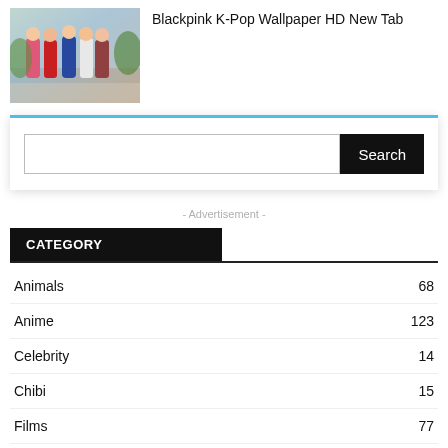[Figure (photo): Thumbnail photo of Blackpink K-Pop group members posing outdoors]
Blackpink K-Pop Wallpaper HD New Tab
Search
- Advertisement -
CATEGORY
Animals 68
Anime 123
Celebrity 14
Chibi 15
Films 77